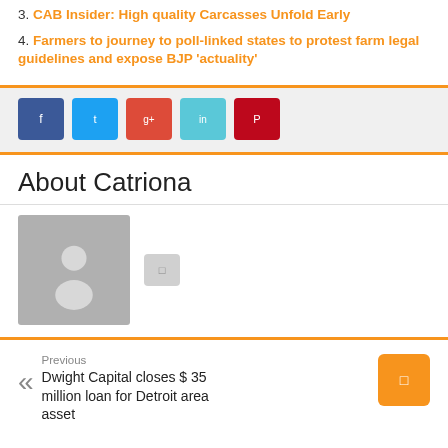3. CAB Insider: High quality Carcasses Unfold Early
4. Farmers to journey to poll-linked states to protest farm legal guidelines and expose BJP ‘actuality’
[Figure (other): Social sharing buttons: Facebook, Twitter, Google+, LinkedIn, Pinterest]
About Catriona
[Figure (photo): Default avatar placeholder image of a person silhouette in gray, with a small gray icon button beside it]
Previous
Dwight Capital closes $ 35 million loan for Detroit area asset